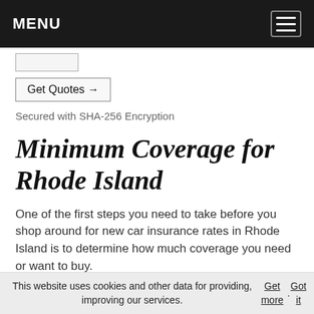MENU
Get Quotes →
Secured with SHA-256 Encryption
Minimum Coverage for Rhode Island
One of the first steps you need to take before you shop around for new car insurance rates in Rhode Island is to determine how much coverage you need or want to buy.
The state's insurance requirements should serve as a
This website uses cookies and other data for providing, improving our services. Get more. Got it